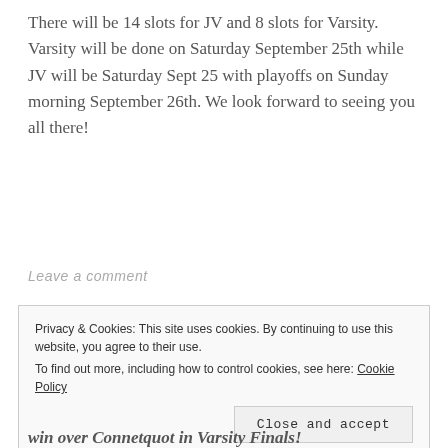There will be 14 slots for JV and 8 slots for Varsity. Varsity will be done on Saturday September 25th while JV will be Saturday Sept 25 with playoffs on Sunday morning September 26th. We look forward to seeing you all there!
Leave a comment
Privacy & Cookies: This site uses cookies. By continuing to use this website, you agree to their use.
To find out more, including how to control cookies, see here: Cookie Policy
Close and accept
win over Connetquot in Varsity Finals!